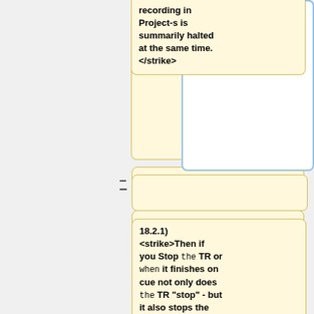recording in Project-s is summarily halted at the same time. </strike>
18.2.1) <strike>Then if you Stop the TR or when it finishes on cue not only does the TR "stop" - but it also stops the recording in Project-1.</strike>
18.3) <strike>When a Timer Recording stops (or is interrupted) in Project-1, the Quick-Play in